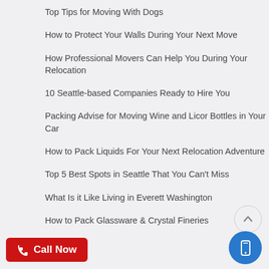Top Tips for Moving With Dogs
How to Protect Your Walls During Your Next Move
How Professional Movers Can Help You During Your Relocation
10 Seattle-based Companies Ready to Hire You
Packing Advise for Moving Wine and Licor Bottles in Your Car
How to Pack Liquids For Your Next Relocation Adventure
Top 5 Best Spots in Seattle That You Can't Miss
What Is it Like Living in Everett Washington
How to Pack Glassware & Crystal Fineries